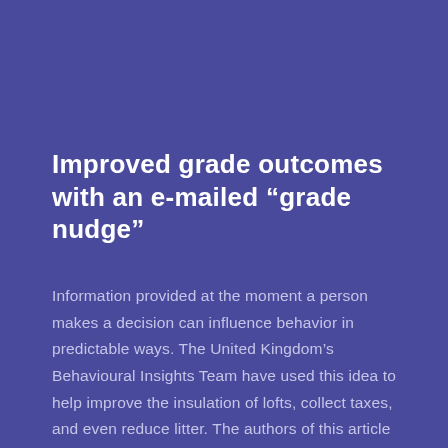Improved grade outcomes with an e-mailed “grade nudge”
Information provided at the moment a person makes a decision can influence behavior in predictable ways. The United Kingdom’s Behavioural Insights Team have used this idea to help improve the insulation of lofts, collect taxes, and even reduce litter. The authors of this article developed software that appends a personalized message to each assignment in the class regarding the student’s current grade. This “grade nudge” explains precisely how the assignment will impact the student’s final grade given their current standing in the class. The authors go on to report